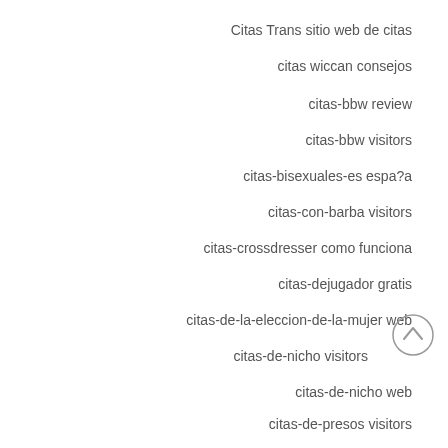Citas Trans sitio web de citas
citas wiccan consejos
citas-bbw review
citas-bbw visitors
citas-bisexuales-es espa?a
citas-con-barba visitors
citas-crossdresser como funciona
citas-dejugador gratis
citas-de-la-eleccion-de-la-mujer web
citas-de-nicho visitors
citas-de-nicho web
citas-de-presos visitors